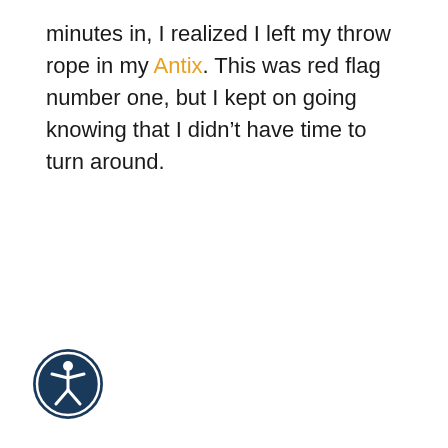minutes in, I realized I left my throw rope in my Antix. This was red flag number one, but I kept on going knowing that I didn't have time to turn around.
[Figure (logo): Accessibility icon: a white stick figure with arms outstretched inside a dark blue circle with a thin white border ring.]